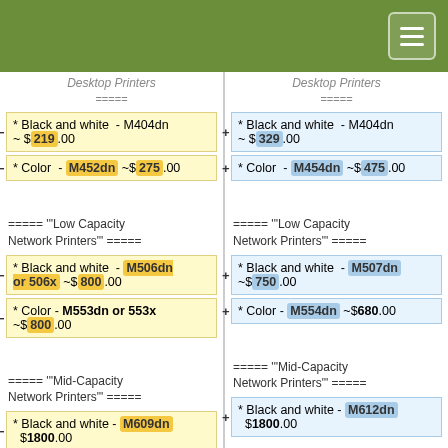Desktop Printers (navigation menu)
Desktop Printers =====
* Black and white - M404dn ~ $219.00
* Color - M452dn ~$275.00
===== """Low Capacity Network Printers""" =====
* Black and white - M506dn or 506x ~$800.00
* Color - M553dn or 553x ~$800.00
===== """Mid-Capacity Network Printers""" =====
* Black and white - M609dn $1800.00
Desktop Printers =====
* Black and white - M404dn ~ $329.00
* Color - M454dn ~$475.00
===== """Low Capacity Network Printers""" =====
* Black and white - M507dn ~$750.00
* Color - M554dn ~$680.00
===== """Mid-Capacity Network Printers""" =====
* Black and white - M612dn $1800.00